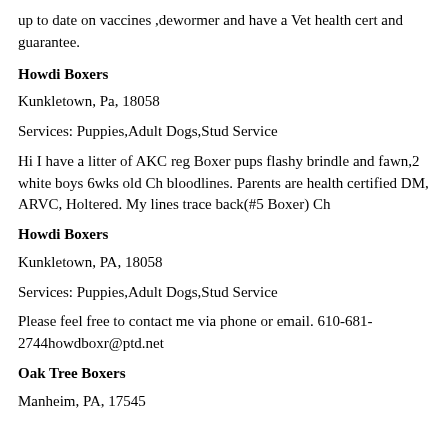up to date on vaccines ,dewormer and have a Vet health cert and guarantee.
Howdi Boxers
Kunkletown, Pa, 18058
Services: Puppies,Adult Dogs,Stud Service
Hi I have a litter of AKC reg Boxer pups flashy brindle and fawn,2 white boys 6wks old Ch bloodlines. Parents are health certified DM, ARVC, Holtered. My lines trace back(#5 Boxer) Ch
Howdi Boxers
Kunkletown, PA, 18058
Services: Puppies,Adult Dogs,Stud Service
Please feel free to contact me via phone or email. 610-681-2744howdboxr@ptd.net
Oak Tree Boxers
Manheim, PA, 17545